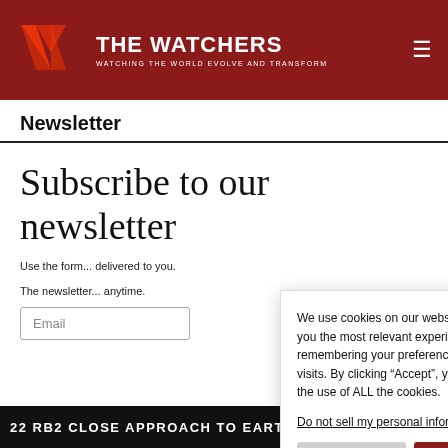THE WATCHERS — WATCHING THE WORLD EVOLVE AND TRANSFORM
Newsletter
Subscribe to our newsletter
Use the form... delivered to you.
The newsletter... anytime.
Email
We use cookies on our website to give you the most relevant experience by remembering your preferences and repeat visits. By clicking “Accept”, you consent to the use of ALL the cookies. Do not sell my personal information.
Cookie settings   Accept
22 RB2 CLOSE APPROACH TO EARTH ON SATURDAY, SEPTEMBE